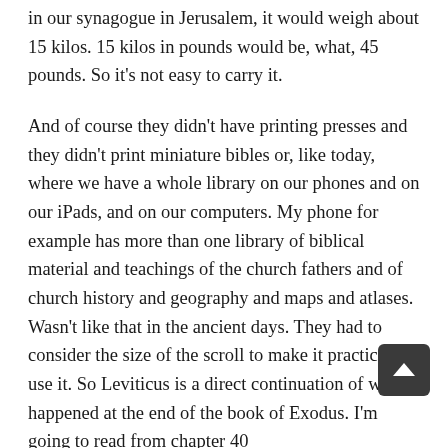in our synagogue in Jerusalem, it would weigh about 15 kilos. 15 kilos in pounds would be, what, 45 pounds. So it's not easy to carry it.
And of course they didn't have printing presses and they didn't print miniature bibles or, like today, where we have a whole library on our phones and on our iPads, and on our computers. My phone for example has more than one library of biblical material and teachings of the church fathers and of church history and geography and maps and atlases. Wasn't like that in the ancient days. They had to consider the size of the scroll to make it practical to use it. So Leviticus is a direct continuation of what happened at the end of the book of Exodus. I'm going to read from chapter 40